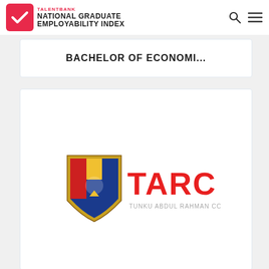TALENTBANK NATIONAL GRADUATE EMPLOYABILITY INDEX
BACHELOR OF ECONOMI...
[Figure (logo): TARC (Tunku Abdul Rahman College) institutional logo with crest and red TARC text]